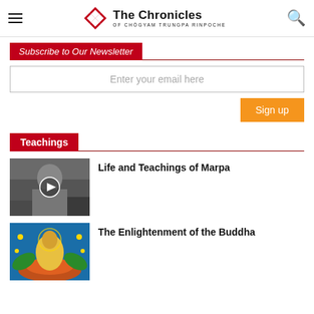The Chronicles of Chögyam Trungpa Rinpoche
Subscribe to Our Newsletter
Enter your email here
Sign up
Teachings
[Figure (photo): Black and white photo of a man with a play button overlay, thumbnail for 'Life and Teachings of Marpa' video]
Life and Teachings of Marpa
[Figure (illustration): Colorful Buddhist illustration showing a golden Buddha figure seated, surrounded by blue and orange decorative elements]
The Enlightenment of the Buddha